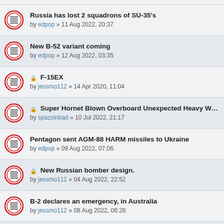Russia has lost 2 squadrons of SU-35's by edpop » 11 Aug 2022, 20:37
New B-52 variant coming by edpop » 12 Aug 2022, 03:35
[locked] F-15EX by jessmo112 » 14 Apr 2020, 11:04
[locked] Super Hornet Blown Overboard Unexpected Heavy Weather T by spazsinbad » 10 Jul 2022, 21:17
Pentagon sent AGM-88 HARM missiles to Ukraine by edpop » 09 Aug 2022, 07:06
[locked] New Russian bomber design. by jessmo112 » 04 Aug 2022, 22:52
B-2 declares an emergency, in Australia by jessmo112 » 08 Aug 2022, 06:28
[locked] Lockeed developing next generation HIMARS. by jessmo112 » 07 Aug 2022, 22:04
[locked] Eurofighter Typhoon by peterb » 06 Dec 2009, 06:59